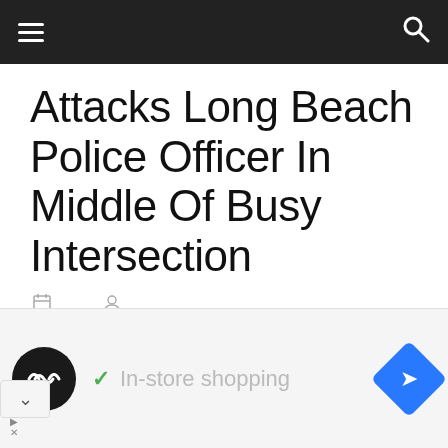Navigation bar with hamburger menu and search icon
Attacks Long Beach Police Officer In Middle Of Busy Intersection
Monday around 3:30 pm Long Beach Officers were dispatched to the area of Anaheim Street and Pacific Avenue regarding a female adult subject in the
[Figure (screenshot): Advertisement overlay with app icon, checkmark, In-store shopping text, and navigation button]